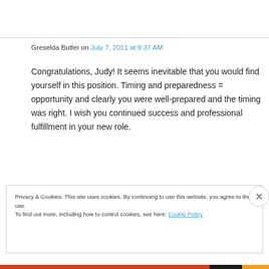Greselda Butler on July 7, 2011 at 9:37 AM
Congratulations, Judy! It seems inevitable that you would find yourself in this position. Timing and preparedness = opportunity and clearly you were well-prepared and the timing was right. I wish you continued success and professional fulfillment in your new role.
Privacy & Cookies: This site uses cookies. By continuing to use this website, you agree to their use.
To find out more, including how to control cookies, see here: Cookie Policy
Close and accept